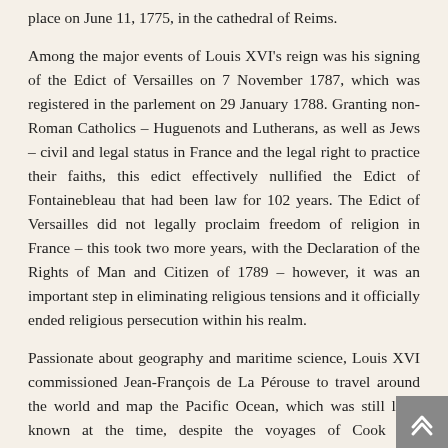place on June 11, 1775, in the cathedral of Reims.
Among the major events of Louis XVI's reign was his signing of the Edict of Versailles on 7 November 1787, which was registered in the parlement on 29 January 1788. Granting non-Roman Catholics – Huguenots and Lutherans, as well as Jews – civil and legal status in France and the legal right to practice their faiths, this edict effectively nullified the Edict of Fontainebleau that had been law for 102 years. The Edict of Versailles did not legally proclaim freedom of religion in France – this took two more years, with the Declaration of the Rights of Man and Citizen of 1789 – however, it was an important step in eliminating religious tensions and it officially ended religious persecution within his realm.
Passionate about geography and maritime science, Louis XVI commissioned Jean-François de La Pérouse to travel around the world and map the Pacific Ocean, which was still little known at the time, despite the voyages of Cook and Bougainville. The king is behind the entire expedition.
Louis XVI is best known for his role in the French Revolution. It began in 1789 after the summons of the states general to refinance the state. Third Party MPs, who...